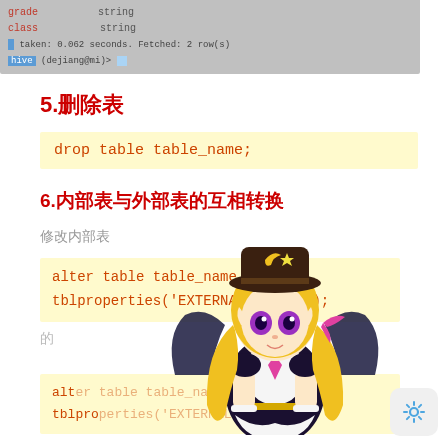[Figure (screenshot): Terminal/CLI output showing table schema with grade and class string fields, timing info, and prompt]
5.删除表
drop table table_name;
6.内部表与外部表的互相转换
修改内部表
alter table table_name set tblproperties('EXTERNAL'='TRUE');
alter table table_name set tblproperties('EXTERNAL'='FALSE');
[Figure (illustration): Anime character with blonde twin tails, dark hat with moon/star, bat wings, steampunk outfit]